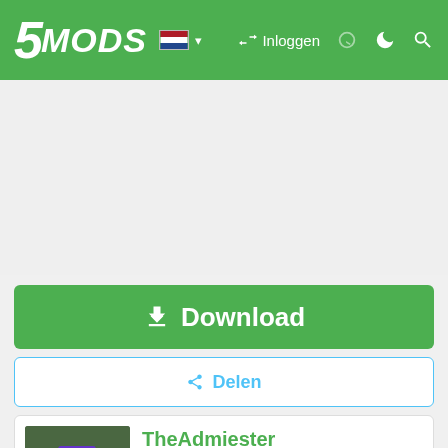5MODS — Inloggen
[Figure (screenshot): Advertisement/blank area placeholder]
Download
Delen
TheAdmiester
[Figure (photo): Profile avatar photo of TheAdmiester holding a stop sign, wearing blue outfit]